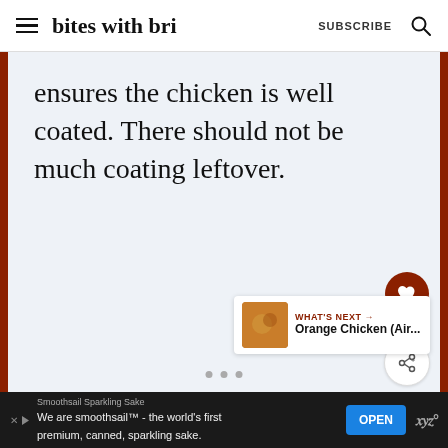bites with bri  SUBSCRIBE
ensures the chicken is well coated. There should not be much coating leftover.
43
WHAT'S NEXT → Orange Chicken (Air...
Smoothsail Sparkling Sake  We are smoothsail™ - the world's first premium, canned, sparkling sake.  OPEN